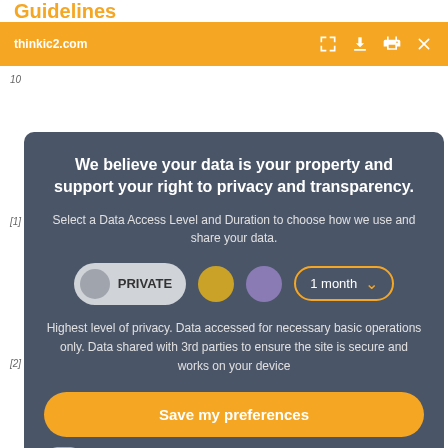Guidelines
[Figure (screenshot): Cookie consent / privacy modal overlay on a web page. Orange top bar with URL thinkic2.com and icons. Dark teal modal with title 'We believe your data is your property and support your right to privacy and transparency.' Controls include PRIVATE pill, gold dot, purple dot, 1 month dropdown. Description text. Save my preferences button. Bottom row with Customize toggle and Privacy policy link.]
We believe your data is your property and support your right to privacy and transparency.
Select a Data Access Level and Duration to choose how we use and share your data.
Highest level of privacy. Data accessed for necessary basic operations only. Data shared with 3rd parties to ensure the site is secure and works on your device
Save my preferences
Customize
Privacy policy